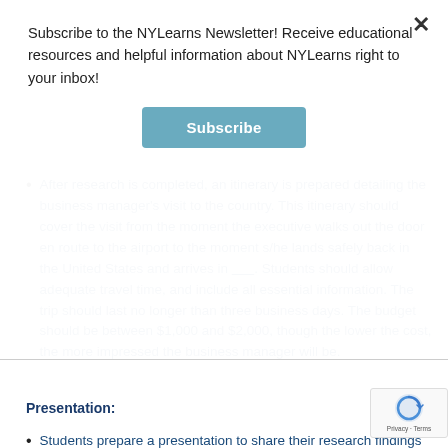Subscribe to the NYLearns Newsletter! Receive educational resources and helpful information about NYLearns right to your inbox!
[Figure (other): Subscribe button - blue rounded rectangle with white bold text 'Subscribe']
After research is completed, an itinerary is prepared detailing the business manager's visit to the country. This itinerary should cover the visit from the moment the executive walks out the door en route to the airport to the moment s/he lands safely back in the United States and arrives in ______. Students should allow adequate travel time, and include all essential information. The trip should last no longer than three business days. The budget should be between $1,000 and $2,000, though the lower the cost, the more impressed the business manager will be.
Presentation:
Students prepare a presentation to share their research findings with the rest of the class.